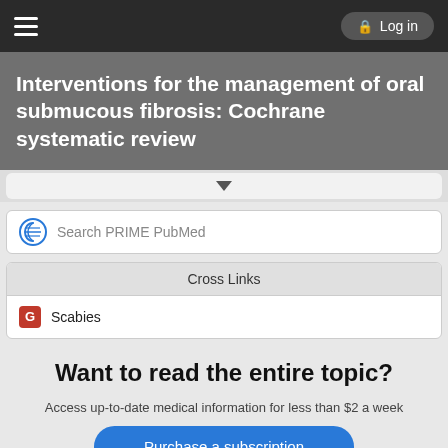Log in
Interventions for the management of oral submucous fibrosis: Cochrane systematic review
Search PRIME PubMed
Cross Links
Scabies
Want to read the entire topic?
Access up-to-date medical information for less than $2 a week
Purchase a subscription
I'm already a subscriber
Browse sample topics